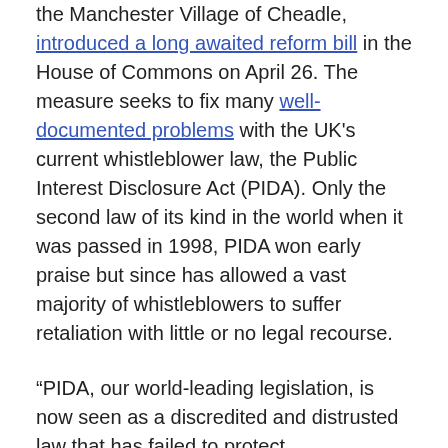the Manchester Village of Cheadle, introduced a long awaited reform bill in the House of Commons on April 26. The measure seeks to fix many well-documented problems with the UK's current whistleblower law, the Public Interest Disclosure Act (PIDA). Only the second law of its kind in the world when it was passed in 1998, PIDA won early praise but since has allowed a vast majority of whistleblowers to suffer retaliation with little or no legal recourse.
“PIDA, our world-leading legislation, is now seen as a discredited and distrusted law that has failed to protect whistleblowers or the public,” Robinson said in an impassioned speech. “The reality is that our current legislation is not working. Where we once led the way, we now lag behind. ”
Robinson’s remarks come nine years after one of PIDA’s original co-authors warned about the law’s major